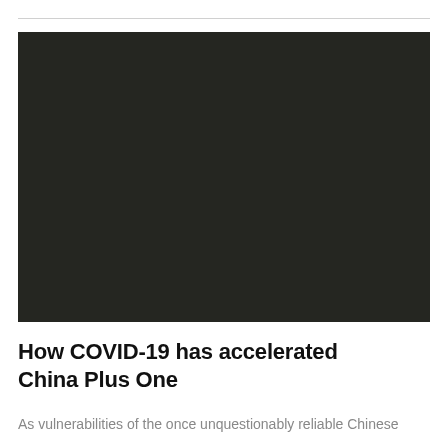[Figure (photo): Dark/black photograph, content not discernible]
How COVID-19 has accelerated China Plus One
As vulnerabilities of the once unquestionably reliable Chinese